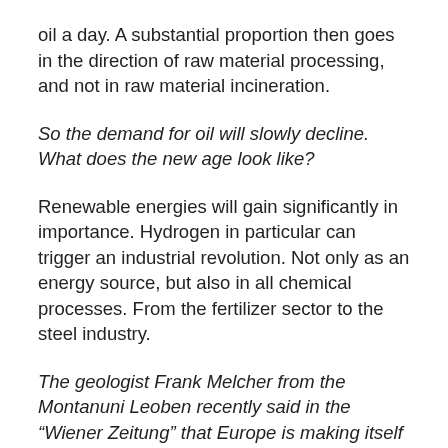oil a day. A substantial proportion then goes in the direction of raw material processing, and not in raw material incineration.
So the demand for oil will slowly decline. What does the new age look like?
Renewable energies will gain significantly in importance. Hydrogen in particular can trigger an industrial revolution. Not only as an energy source, but also in all chemical processes. From the fertilizer sector to the steel industry.
The geologist Frank Melcher from the Montanuni Leoben recently said in the “Wiener Zeitung” that Europe is making itself dependent on China by expanding renewable energies. Most of the metals